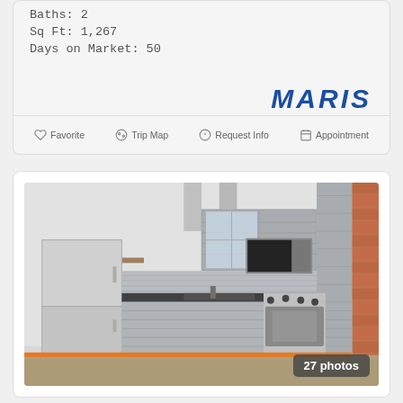Baths: 2
Sq Ft: 1,267
Days on Market: 50
[Figure (logo): MARIS real estate logo in bold blue italic text]
Favorite  Trip Map  Request Info  Appointment
[Figure (photo): Kitchen interior with stainless steel appliances including refrigerator, dishwasher, oven/range, microwave, grey modern cabinets, dark countertops, tiled backsplash, exposed brick wall on right, concrete floor. Badge showing 27 photos.]